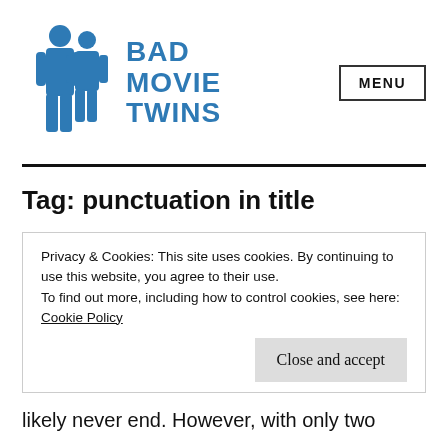[Figure (logo): Bad Movie Twins logo: two blue silhouette figures standing side by side, with blue bold text reading BAD MOVIE TWINS to the right]
Tag: punctuation in title
Privacy & Cookies: This site uses cookies. By continuing to use this website, you agree to their use.
To find out more, including how to control cookies, see here: Cookie Policy
Close and accept
likely never end. However, with only two